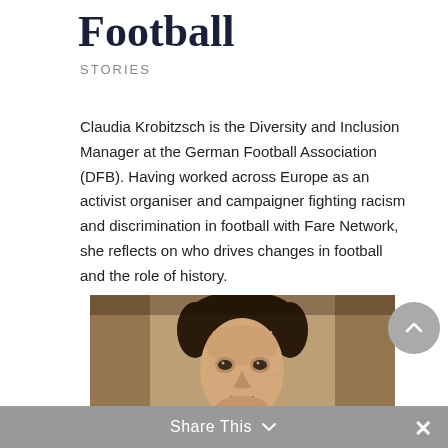Football
STORIES
Claudia Krobitzsch is the Diversity and Inclusion Manager at the German Football Association (DFB). Having worked across Europe as an activist organiser and campaigner fighting racism and discrimination in football with Fare Network, she reflects on who drives changes in football and the role of history.
[Figure (photo): Black and white engraving-style portrait of a historical figure, shown from the shoulders up, with wavy hair and formal attire.]
Share This ∨ ×